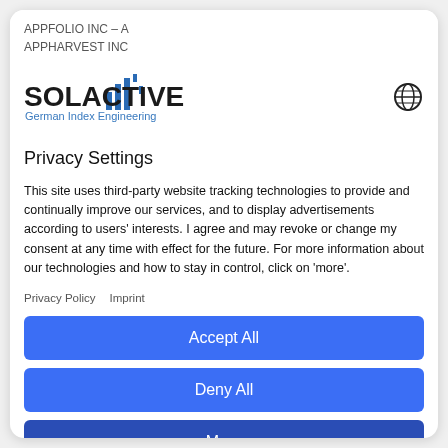APPFOLIO INC – A
APPHARVEST INC
[Figure (logo): Solactive logo with bar chart icon and text 'SOLACTIVE German Index Engineering']
Privacy Settings
This site uses third-party website tracking technologies to provide and continually improve our services, and to display advertisements according to users' interests. I agree and may revoke or change my consent at any time with effect for the future. For more information about our technologies and how to stay in control, click on 'more'.
Privacy Policy
Imprint
Accept All
Deny All
More
Powered by Usercentrics Consent Management